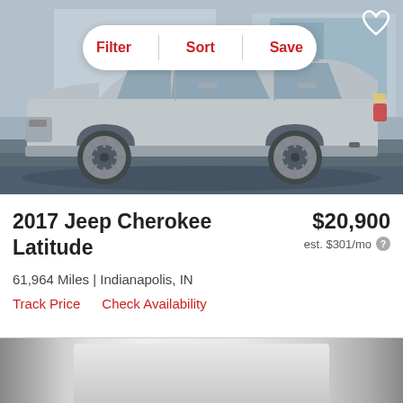[Figure (photo): Side profile photo of a silver 2017 Jeep Cherokee Latitude SUV parked in a dealership lot, with a white building visible in background. A white pill-shaped toolbar with Filter, Sort, and Save options overlays the top of the image. A heart/save icon appears in the top right corner.]
2017 Jeep Cherokee Latitude
$20,900
est. $301/mo
61,964 Miles | Indianapolis, IN
Track Price    Check Availability
[Figure (photo): Partial bottom strip showing another vehicle photo, partially visible at the bottom of the page.]